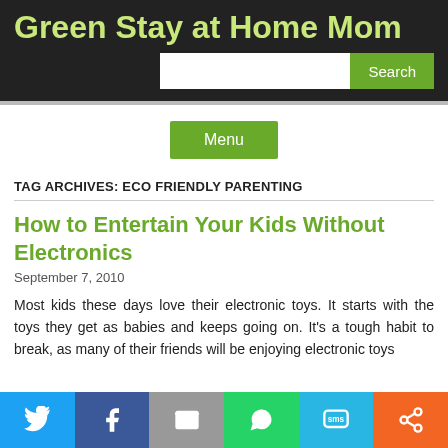Green Stay at Home Mom
How to Entertain Your Kids Without Electronics
September 7, 2010
TAG ARCHIVES: ECO FRIENDLY PARENTING
Most kids these days love their electronic toys. It starts with the toys they get as babies and keeps going on. It's a tough habit to break, as many of their friends will be enjoying electronic toys